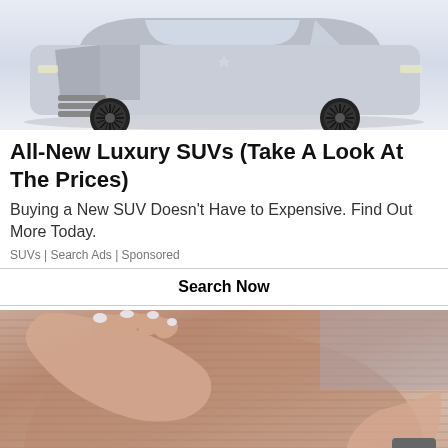[Figure (photo): Photo of a luxury SUV (appears to be a Lincoln Navigator) with suicide/coach doors open, showing steps, black and white spiral wheel design, on light gray/white background]
All-New Luxury SUVs (Take A Look At The Prices)
Buying a New SUV Doesn't Have to Expensive. Find Out More Today.
SUVs | Search Ads | Sponsored
Search Now
[Figure (photo): Close-up photo of a person's hands with white painted nails resting on a pregnant belly or midsection wearing a ribbed mauve/taupe top]